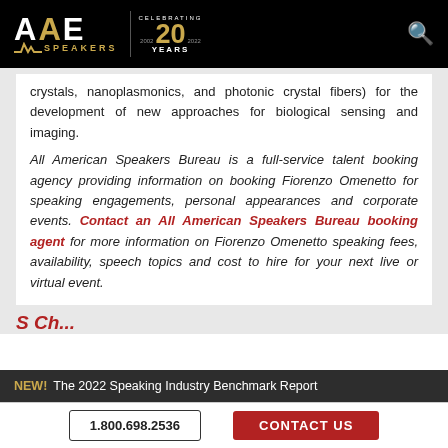AAE SPEAKERS — Celebrating 20 Years
crystals, nanoplasmonics, and photonic crystal fibers) for the development of new approaches for biological sensing and imaging.
All American Speakers Bureau is a full-service talent booking agency providing information on booking Fiorenzo Omenetto for speaking engagements, personal appearances and corporate events. Contact an All American Speakers Bureau booking agent for more information on Fiorenzo Omenetto speaking fees, availability, speech topics and cost to hire for your next live or virtual event.
S Ch...
NEW! The 2022 Speaking Industry Benchmark Report
1.800.698.2536    CONTACT US